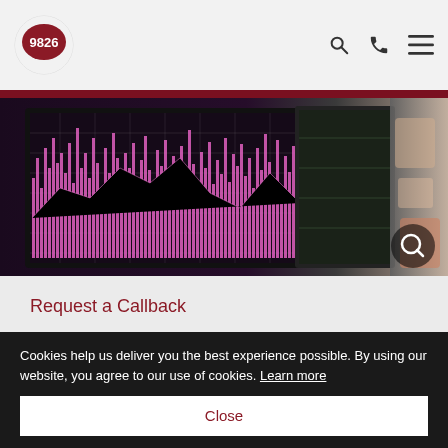9826 logo with search, phone, and menu icons
[Figure (photo): Close-up photo of a computer monitor displaying pink/purple waveform data on a dark grid, with blurred background showing other screens and objects]
Request a Callback
Name*
Cookies help us deliver you the best experience possible. By using our website, you agree to our use of cookies. Learn more
Close